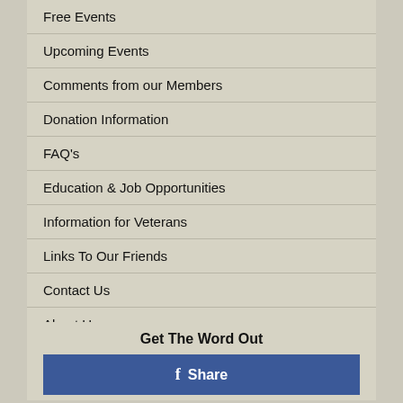Free Events
Upcoming Events
Comments from our Members
Donation Information
FAQ's
Education & Job Opportunities
Information for Veterans
Links To Our Friends
Contact Us
About Us
Get The Word Out
[Figure (other): Facebook Share button with blue background and 'f Share' label]